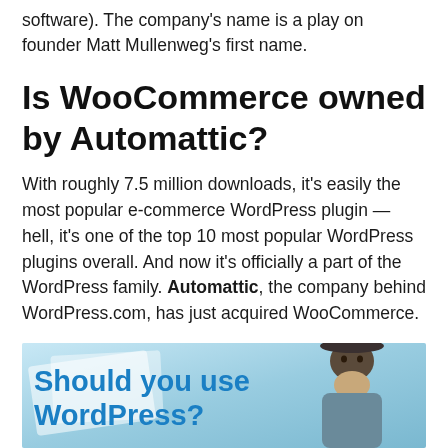software). The company's name is a play on founder Matt Mullenweg's first name.
Is WooCommerce owned by Automattic?
With roughly 7.5 million downloads, it's easily the most popular e-commerce WordPress plugin — hell, it's one of the top 10 most popular WordPress plugins overall. And now it's officially a part of the WordPress family. Automattic, the company behind WordPress.com, has just acquired WooCommerce.
[Figure (photo): Banner image with text 'Should you use WordPress?' and a person wearing a hat on the right side]